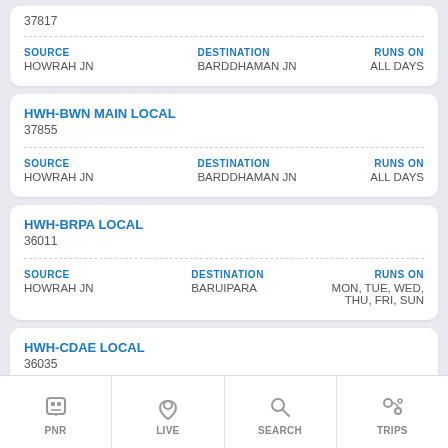37817
SOURCE: HOWRAH JN | DESTINATION: BARDDHAMAN JN | RUNS ON: ALL DAYS
HWH-BWN MAIN LOCAL
37855
SOURCE: HOWRAH JN | DESTINATION: BARDDHAMAN JN | RUNS ON: ALL DAYS
HWH-BRPA LOCAL
36011
SOURCE: HOWRAH JN | DESTINATION: BARUIPARA | RUNS ON: MON, TUE, WED, THU, FRI, SUN
HWH-CDAE LOCAL
36035
SOURCE: HOWRAH JN | DESTINATION: CHANDANPUR | RUNS ON: ALL DAYS
PNR | LIVE | SEARCH | TRIPS